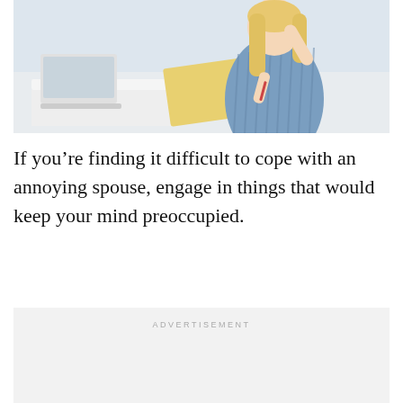[Figure (photo): A stressed or thinking blonde woman in a blue striped shirt sitting with a notebook and pencil, with a laptop on a desk beside her, in a bright white room setting.]
If you’re finding it difficult to cope with an annoying spouse, engage in things that would keep your mind preoccupied.
ADVERTISEMENT